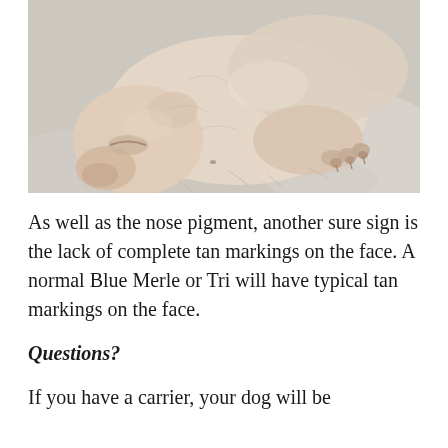[Figure (photo): Close-up photograph of a newborn puppy with very sparse white/pink fur lying on a light grey blanket or fabric. The puppy has its eyes closed and paws visible.]
As well as the nose pigment, another sure sign is the lack of complete tan markings on the face. A normal Blue Merle or Tri will have typical tan markings on the face.
Questions?
If you have a carrier, your dog will be